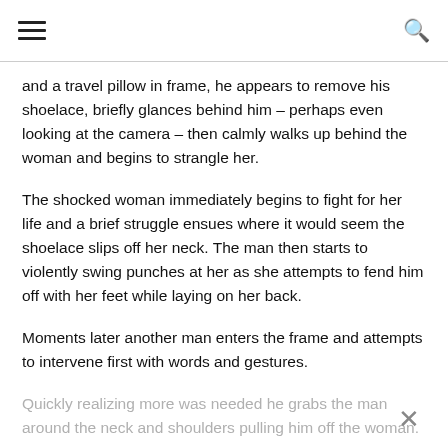≡  🔍
and a travel pillow in frame, he appears to remove his shoelace, briefly glances behind him – perhaps even looking at the camera – then calmly walks up behind the woman and begins to strangle her.
The shocked woman immediately begins to fight for her life and a brief struggle ensues where it would seem the shoelace slips off her neck. The man then starts to violently swing punches at her as she attempts to fend him off with her feet while laying on her back.
Moments later another man enters the frame and attempts to intervene first with words and gestures.
Quickly realizing more was needed he grabs the man around the neck and shoulders pulling him off the woman.